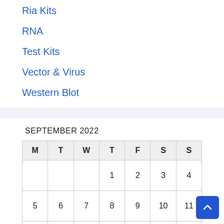Ria Kits
RNA
Test Kits
Vector & Virus
Western Blot
| M | T | W | T | F | S | S |
| --- | --- | --- | --- | --- | --- | --- |
|  |  |  | 1 | 2 | 3 | 4 |
| 5 | 6 | 7 | 8 | 9 | 10 | 11 |
| 12 | 13 | 14 | 15 | 16 | 17 | 18 |